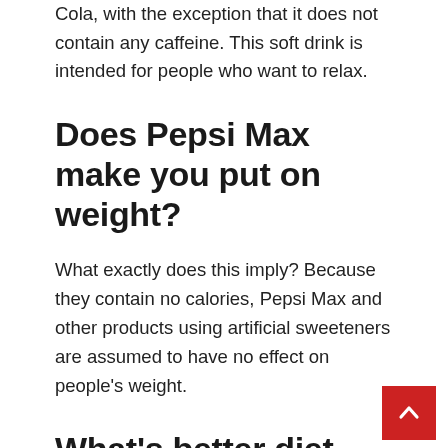Cola, with the exception that it does not contain any caffeine. This soft drink is intended for people who want to relax.
Does Pepsi Max make you put on weight?
What exactly does this imply? Because they contain no calories, Pepsi Max and other products using artificial sweeteners are assumed to have no effect on people’s weight.
What’s better diet Coke or Pepsi Max?